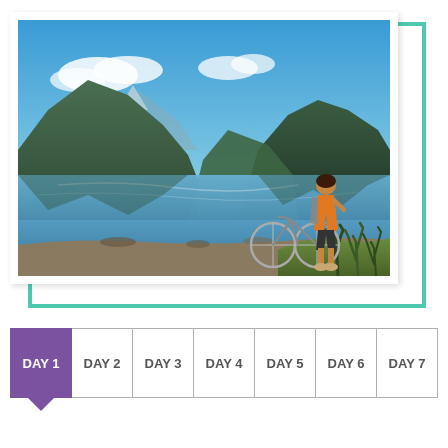[Figure (photo): A woman with a bicycle standing on the shore of a calm mountain lake. Clear blue sky, green mountains reflected in still water, native flax plants on the right side. Outdoor adventure / cycling tourism scene.]
| DAY 1 | DAY 2 | DAY 3 | DAY 4 | DAY 5 | DAY 6 | DAY 7 |
| --- | --- | --- | --- | --- | --- | --- |
|  |  |  |  |  |  |  |